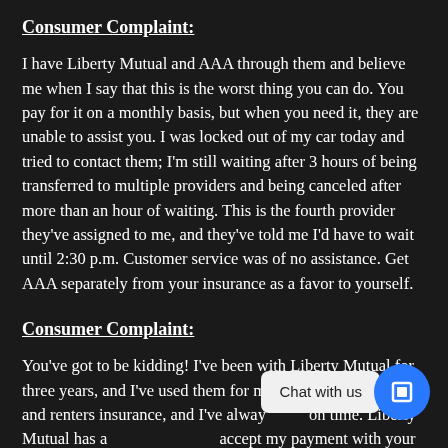Consumer Complaint:
I have Liberty Mutual and AAA through them and believe me when I say that this is the worst thing you can do. You pay for it on a monthly basis, but when you need it, they are unable to assist you. I was locked out of my car today and tried to contact them; I'm still waiting after 3 hours of being transferred to multiple providers and being canceled after more than an hour of waiting. This is the fourth provider they've assigned to me, and they've told me I'd have to wait until 2:30 p.m. Customer service was of no assistance. Get AAA separately from your insurance as a favor to yourself.
Consumer Complaint:
You've got to be kidding! I've been with Liberty Mutual for three years, and I've used them for my vehicle, motorbike, and renters insurance, and I've always paid on time. Liberty Mutual has always refused to accept my payment with your... I've also experienced a flood in my house due to a sewer backup,